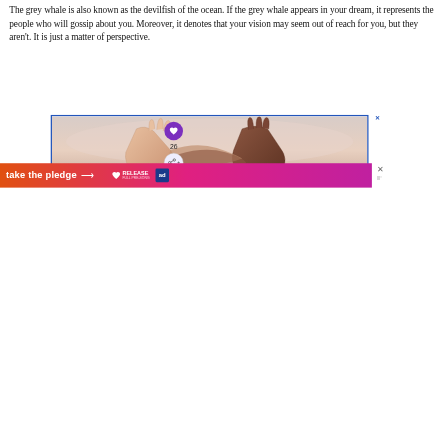The grey whale is also known as the devilfish of the ocean. If the grey whale appears in your dream, it represents the people who will gossip about you. Moreover, it denotes that your vision may seem out of reach for you, but they aren't. It is just a matter of perspective.
[Figure (photo): Two hands clasped together — one lighter and one darker skin tone — against a soft pinkish background. The image is displayed inside an ad unit with a blue border.]
[Figure (infographic): Banner advertisement reading 'take the pledge' with an arrow, and logos for RELEASE and another brand.]